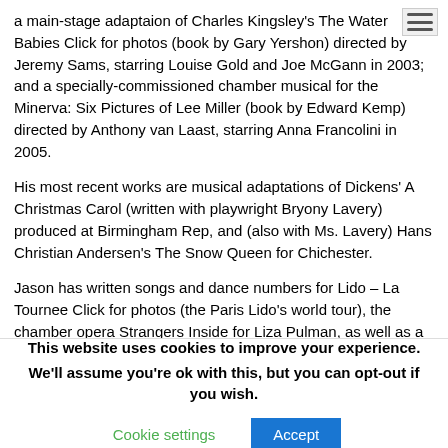a main-stage adaptaion of Charles Kingsley's The Water Babies Click for photos (book by Gary Yershon) directed by Jeremy Sams, starring Louise Gold and Joe McGann in 2003; and a specially-commissioned chamber musical for the Minerva: Six Pictures of Lee Miller (book by Edward Kemp) directed by Anthony van Laast, starring Anna Francolini in 2005.
His most recent works are musical adaptations of Dickens' A Christmas Carol (written with playwright Bryony Lavery) produced at Birmingham Rep, and (also with Ms. Lavery) Hans Christian Andersen's The Snow Queen for Chichester.
Jason has written songs and dance numbers for Lido – La Tournee Click for photos (the Paris Lido's world tour), the chamber opera Strangers Inside for Liza Pulman, as well as a
This website uses cookies to improve your experience. We'll assume you're ok with this, but you can opt-out if you wish.
Cookie settings  Accept